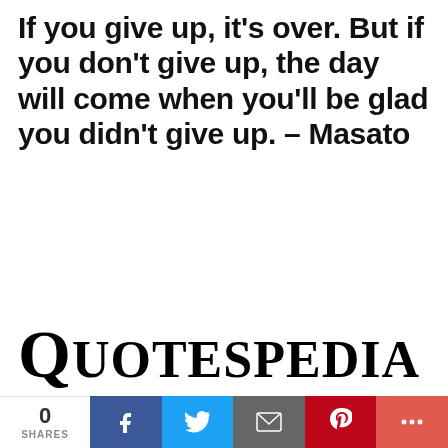If you give up, it's over. But if you don't give up, the day will come when you'll be glad you didn't give up. – Masato
[Figure (logo): Quotespedia logo in large serif font with oversized capital Q]
0 SHARES